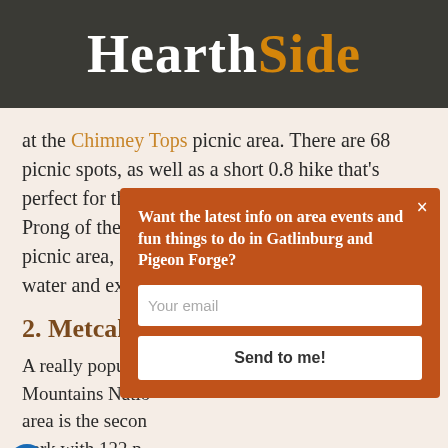HearthSide
at the Chimney Tops picnic area. There are 68 picnic spots, as well as a short 0.8 hike that's perfect for the whole family to enjoy! The West Prong of the Little Pigeon River runs next to the picnic area, and the kids will love splashing in the water and exploring.
2. Metcalf Bo...
A really popular ... Mountains Natio... area is the secon... park with 122 p... next to the river so you can get in on a hot summer...
[Figure (screenshot): Email signup modal with orange background. Title: 'Want the latest info on area events and fun things to do in Gatlinburg and Pigeon Forge?' Email input field placeholder 'Your email' and a 'Send to me!' button. Close X in top right.]